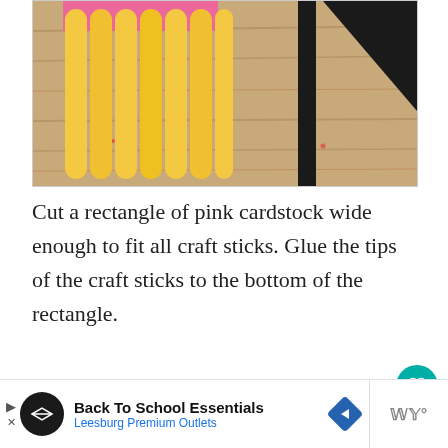[Figure (photo): Yellow craft/popsicle sticks laid out on a wooden surface with a pink cardstock piece at the top and black cardstock triangles and strips at the right side.]
Cut a rectangle of pink cardstock wide enough to fit all craft sticks. Glue the tips of the craft sticks to the bottom of the rectangle.
[Figure (photo): Partial view of pink cardstock triangle on a wooden surface — craft project in progress.]
[Figure (other): Advertisement banner: Back To School Essentials, Leesburg Premium Outlets]